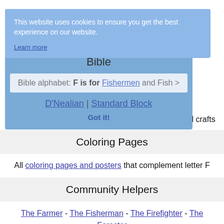Books
Five Little Ducks
Bible
Bible alphabet: F is for Fishermen and Fish >
D'Nealian | Standard Block
Includes links to scripture text, printable activities and crafts
Coloring Pages
All coloring pages and posters that complement letter F
Community Helpers
The Farmer - The Fisherman - The Firefighter - The Forester
Crafts - Letter F Theme